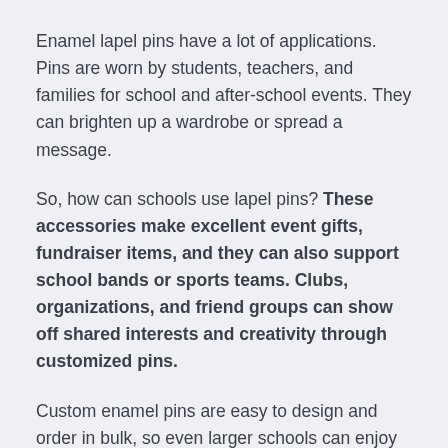Enamel lapel pins have a lot of applications. Pins are worn by students, teachers, and families for school and after-school events. They can brighten up a wardrobe or spread a message.
So, how can schools use lapel pins? These accessories make excellent event gifts, fundraiser items, and they can also support school bands or sports teams. Clubs, organizations, and friend groups can show off shared interests and creativity through customized pins.
Custom enamel pins are easy to design and order in bulk, so even larger schools can enjoy the benefits of being able to express ideas and a shared appreciation by donning unique, custom pins. There are many